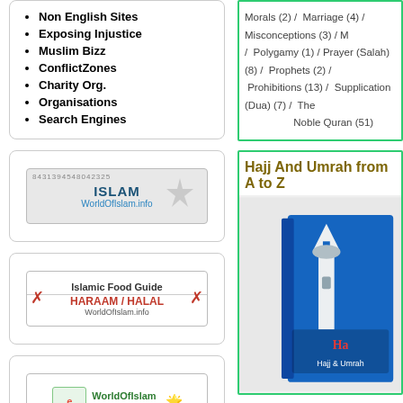Non English Sites
Exposing Injustice
Muslim Bizz
ConflictZones
Charity Org.
Organisations
Search Engines
[Figure (screenshot): WorldOfIslam.info Islam banner with phone number]
[Figure (screenshot): Islamic Food Guide HARAAM / HALAL WorldOfIslam.info banner]
[Figure (screenshot): WorldOfIslam E-Cards banner]
Tweets by @WorldOfIslam_
UnOfficial
UnOfficial Tweets by
Morals (2) / Marriage (4) / Misconceptions (3) / M... / Polygamy (1) / Prayer (Salah) (8) / Prophets (2) /... Prohibitions (13) / Supplication (Dua) (7) / The... Noble Quran (51)
Hajj And Umrah from A to Z